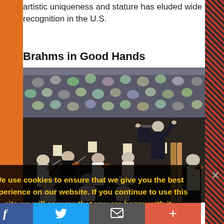artistic uniqueness and stature has eluded wide recognition in the U.S.
Brahms in Good Hands
[Figure (photo): A conductor in a dark suit stands at a podium with arms raised, conducting a large orchestra with string players in the foreground; a packed audience fills the background in what appears to be an outdoor or open-air venue.]
We use cookies to ensure that we give you the best experience on our website. If you continue to use this site we will assume that you are happy with it.
f  [Twitter bird]  [Email icon]  +